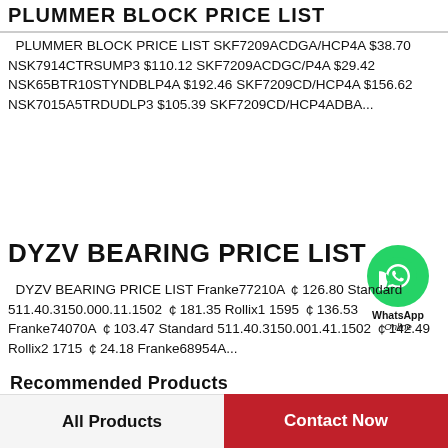PLUMMER BLOCK PRICE LIST
PLUMMER BLOCK PRICE LIST SKF7209ACDGA/HCP4A $38.70 NSK7914CTRSUMP3 $110.12 SKF7209ACDGC/P4A $29.42 NSK65BTR10STYNDBLP4A $192.46 SKF7209CD/HCP4A $156.62 NSK7015A5TRDUDLP3 $105.39 SKF7209CD/HCP4ADBA...
DYZV BEARING PRICE LIST
[Figure (logo): WhatsApp contact bubble - green circle with phone icon, text WhatsApp Online]
DYZV BEARING PRICE LIST Franke77210A ￠126.80 Standard 511.40.3150.000.11.1502 ￠181.35 Rollix1 1595 ￠136.53 Franke74070A ￠103.47 Standard 511.40.3150.001.41.1502 ￠142.49 Rollix2 1715 ￠24.18 Franke68954A...
Recommended Products
All Products
Contact Now